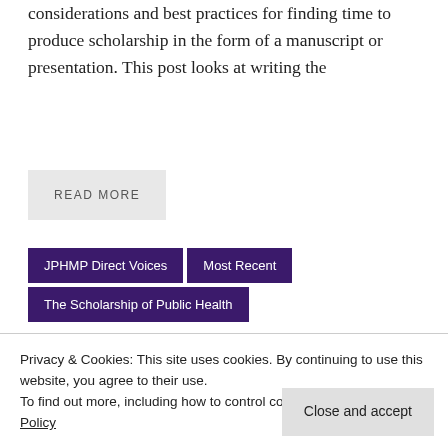considerations and best practices for finding time to produce scholarship in the form of a manuscript or presentation. This post looks at writing the
READ MORE
JPHMP Direct Voices
Most Recent
The Scholarship of Public Health
WRITING THE DISCUSSION SECTION
Privacy & Cookies: This site uses cookies. By continuing to use this website, you agree to their use.
To find out more, including how to control cookies, see here: Cookie Policy
Close and accept
Posted on August 11, 2017 | by jphmpdirect